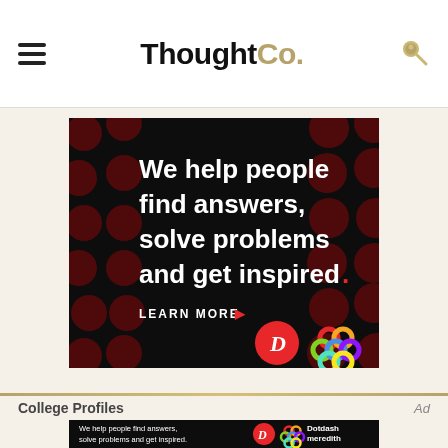ThoughtCo.
[Figure (infographic): Dotdash Meredith advertisement banner on black background with dark red polka dot pattern. Text reads: We help people find answers, solve problems and get inspired. LEARN MORE. Shows Dotdash D logo in red circle and Dotdash Meredith colorful knot logo.]
College Profiles
Ad
[Figure (infographic): Small Dotdash Meredith advertisement banner on black background. Text reads: We help people find answers, solve problems and get inspired. Shows Dotdash D logo and Dotdash meredith text with colorful knot logo.]